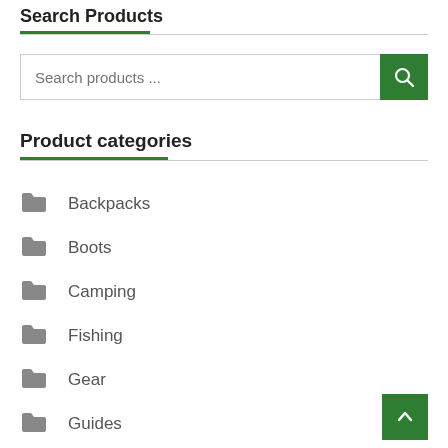Search Products
[Figure (other): Search input box with green search button and magnifying glass icon]
Product categories
Backpacks
Boots
Camping
Fishing
Gear
Guides
Hiking